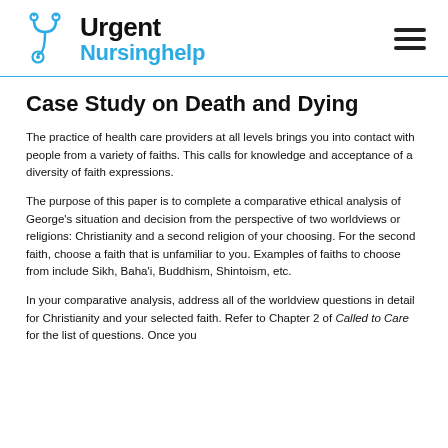Urgent Nursinghelp
Case Study on Death and Dying
The practice of health care providers at all levels brings you into contact with people from a variety of faiths. This calls for knowledge and acceptance of a diversity of faith expressions.
The purpose of this paper is to complete a comparative ethical analysis of George's situation and decision from the perspective of two worldviews or religions: Christianity and a second religion of your choosing. For the second faith, choose a faith that is unfamiliar to you. Examples of faiths to choose from include Sikh, Baha'i, Buddhism, Shintoism, etc.
In your comparative analysis, address all of the worldview questions in detail for Christianity and your selected faith. Refer to Chapter 2 of Called to Care for the list of questions. Once you